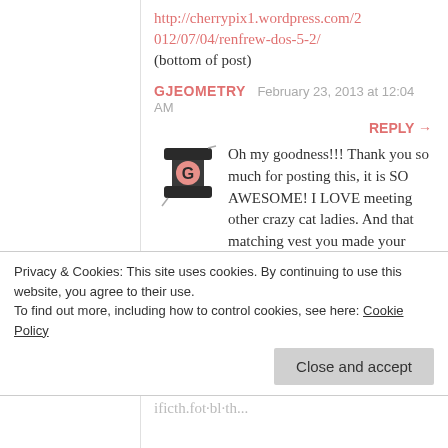http://cherrypix1.wordpress.com/2012/07/04/renfrew-dos-5-2/ (bottom of post)
GJEOMETRY   February 23, 2013 at 12:04 AM
REPLY →
[Figure (logo): Gjeometry avatar icon showing a sewing bobbin/thread graphic with a G letter]
Oh my goodness!!! Thank you so much for posting this, it is SO AWESOME! I LOVE meeting other crazy cat ladies. And that matching vest you made your Kitty.
Privacy & Cookies: This site uses cookies. By continuing to use this website, you agree to their use. To find out more, including how to control cookies, see here: Cookie Policy
Close and accept